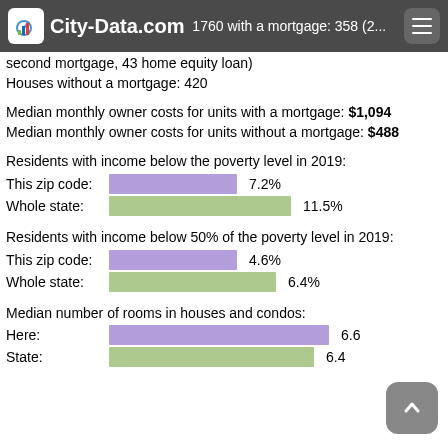City-Data.com | Housing units in zip code 1760 with a mortgage: 358 (2... second mortgage, 43 home equity loan)
second mortgage, 43 home equity loan)
Houses without a mortgage: 420
Median monthly owner costs for units with a mortgage: $1,094
Median monthly owner costs for units without a mortgage: $488
Residents with income below the poverty level in 2019:
[Figure (bar-chart): Residents with income below the poverty level in 2019]
Residents with income below 50% of the poverty level in 2019:
[Figure (bar-chart): Residents with income below 50% of the poverty level in 2019]
Median number of rooms in houses and condos:
[Figure (bar-chart): Median number of rooms in houses and condos]